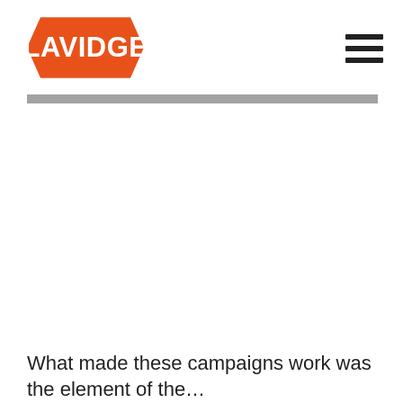[Figure (logo): LAVIDGE company logo — white bold text on an orange hexagon/arrow badge shape]
[Figure (other): Hamburger menu icon — three horizontal dark bars stacked vertically, top right corner]
[Figure (other): Dark horizontal navigation bar strip across the page]
What made these campaigns work was the element of the…